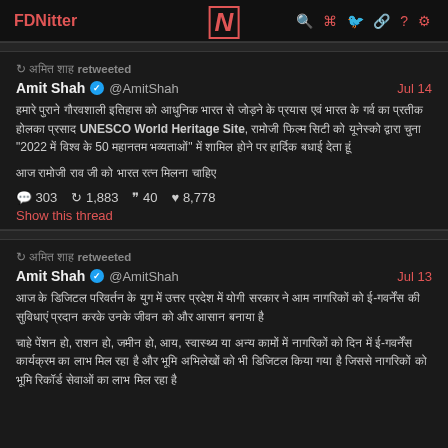FDNitter | N | search rss twitter link ? settings
↺ अमित शाह retweeted
Amit Shah ✓ @AmitShah — Jul 14
हमारे पुराने गौरवशाली इतिहास को आधुनिक भारत से जोड़ने के प्रयास एवं भारत के गर्व का प्रतीक होलका प्रसाद UNESCO World Heritage Site, रामोजी फिल्म सिटी को यूनेस्को द्वारा चुना "2022 में विश्व के 50 महानतम भव्यताओं" में शामिल होने पर हार्दिक बधाई देता हूं

आज रामोजी राव जी को भारत रत्न मिलना चाहिए
💬 303  ↺ 1,883  ❞ 40  ♥ 8,778
Show this thread
↺ अमित शाह retweeted
Amit Shah ✓ @AmitShah — Jul 13
आज के डिजिटल परिवर्तन के युग में उत्तर प्रदेश में योगी सरकार ने आम नागरिकों को ई-गवर्नेंस की सुविधाएं प्रदान करके उनके जीवन को और आसान बनाया है

चाहे पेंशन हो, राशन हो, जमीन हो, आय, स्वास्थ्य या अन्य कामों में नागरिकों को दिन में ई-गवर्नेंस कार्यक्रम का लाभ मिल रहा है और भूमि अभिलेखों को भी डिजिटल किया गया है जिससे नागरिकों को भूमि रिकॉर्ड सेवाओं का लाभ मिल रहा है